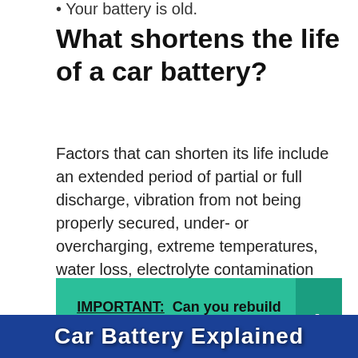Your battery is old.
What shortens the life of a car battery?
Factors that can shorten its life include an extended period of partial or full discharge, vibration from not being properly secured, under- or overcharging, extreme temperatures, water loss, electrolyte contamination and corrosion on terminals.
[Figure (infographic): Teal call-to-action banner reading 'IMPORTANT: Can you rebuild engine without machining?' with a right-arrow chevron on the right side]
[Figure (infographic): Blue banner partially visible at bottom reading 'Car Battery Explained']